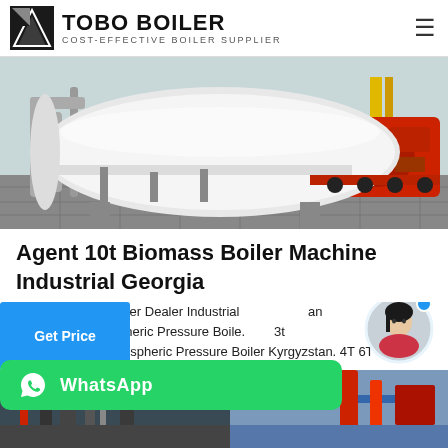TOBO BOILER — COST-EFFECTIVE BOILER SUPPLIER
[Figure (photo): Industrial boiler unit with a large white cylindrical vessel and red burner assembly in a factory setting]
Agent 10t Biomass Boiler Machine Industrial Georgia
t Biomass Fired Boiler Dealer Industrial an mass Fired Atmospheric Pressure Boile. 3t Biomass Fired Atmospheric Pressure Boiler Kyrgyzstan. 4T 6T 10T er. top 10 condensing gas in germany...
[Figure (photo): Bottom partial image showing industrial equipment interiors]